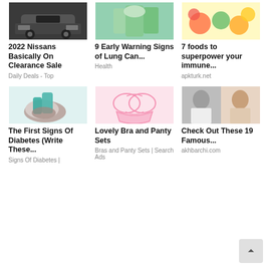[Figure (photo): Dark sports car front view]
2022 Nissans Basically On Clearance Sale
Daily Deals - Top
[Figure (photo): Person holding colorful items, lung cancer warning signs]
9 Early Warning Signs of Lung Can...
Health
[Figure (photo): Colorful fruits and vegetables for immune system]
7 foods to superpower your immune...
apkturk.net
[Figure (photo): Doctor with gloves holding patient hands - diabetes signs]
The First Signs Of Diabetes (Write These...
Signs Of Diabetes |
[Figure (photo): Pink bra and panty lingerie set]
Lovely Bra and Panty Sets
Bras and Panty Sets | Search Ads
[Figure (photo): Two historical photos of famous women]
Check Out These 19 Famous...
akhbarchi.com